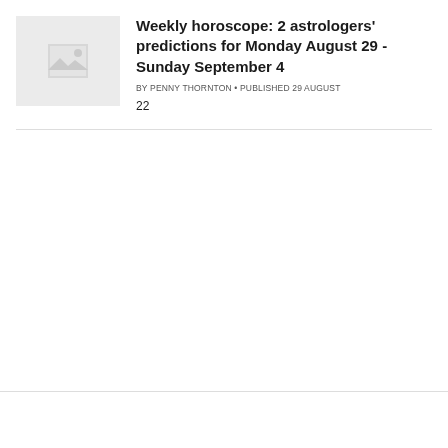[Figure (photo): Placeholder thumbnail image with grey background and image icon]
Weekly horoscope: 2 astrologers' predictions for Monday August 29 - Sunday September 4
BY PENNY THORNTON • PUBLISHED 29 AUGUST
22